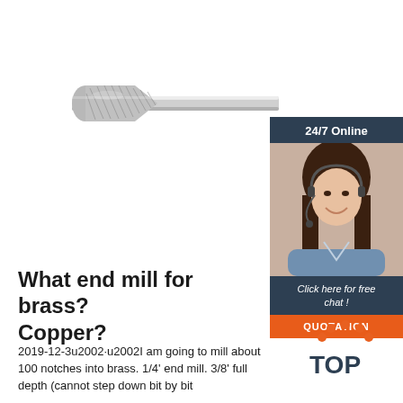[Figure (photo): A carbide rotary burr / die grinder bit with a tapered flame shape, silver metallic with diagonal cutting flutes, on a long cylindrical shank.]
[Figure (photo): Customer service widget: woman wearing headset smiling, with dark blue background, text '24/7 Online', 'Click here for free chat!', and an orange QUOTATION button.]
What end mill for brass? Copper?
[Figure (illustration): Orange dotted arch/triangle TOP badge logo]
2019-12-3u2002·u2002I am going to mill about 100 notches into brass. 1/4' end mill. 3/8' full depth (cannot step down bit by bit